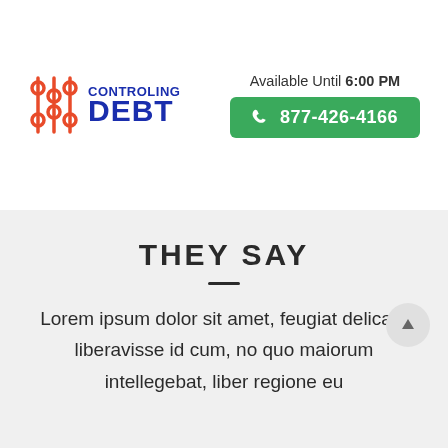[Figure (logo): Controling Debt logo with orange slider icon and blue text]
Available Until 6:00 PM
877-426-4166
THEY SAY
Lorem ipsum dolor sit amet, feugiat delicata liberavisse id cum, no quo maiorum intellegebat, liber regione eu